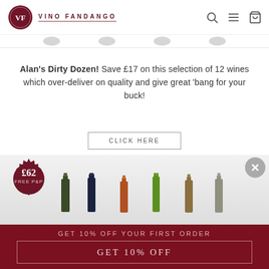VINO FANDANGO
Alan's Dirty Dozen! Save £17 on this selection of 12 wines which over-deliver on quality and give great 'bang for your buck!
CLICK HERE
[Figure (photo): Product image showing tops of 6 wine bottles with a £62 FREE P&P price badge on the left]
GET 10% OFF YOUR FIRST ORDER
GET 10% OFF